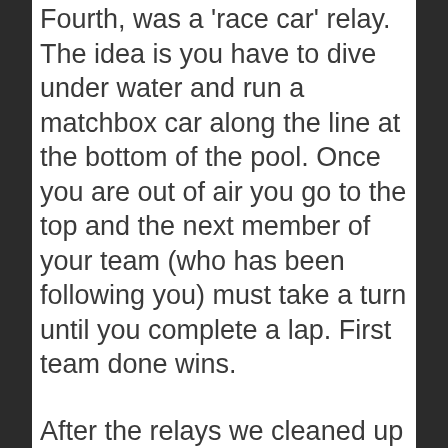Fourth, was a 'race car' relay. The idea is you have to dive under water and run a matchbox car along the line at the bottom of the pool. Once you are out of air you go to the top and the next member of your team (who has been following you) must take a turn until you complete a lap. First team done wins.
After the relays we cleaned up and went to a diner that was close, Left Fork Grill. It was a great find! A terrific bargain and good food. A place I would never have gone to without my friend Josh's suggestion (he had never been there but